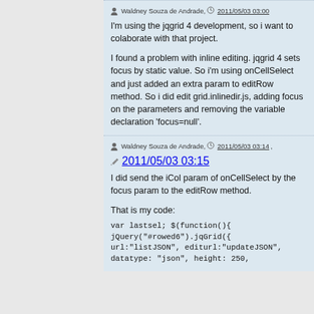Waldney Souza de Andrade, 2011/05/03 03:00
I'm using the jqgrid 4 development, so i want to colaborate with that project.

I found a problem with inline editing. jqgrid 4 sets focus by static value. So i'm using onCellSelect and just added an extra param to editRow method. So i did edit grid.inlinedir.js, adding focus on the parameters and removing the variable declaration 'focus=null'.
Waldney Souza de Andrade, 2011/05/03 03:14, 2011/05/03 03:15
I did send the iCol param of onCellSelect by the focus param to the editRow method.

That is my code:
var lastsel; $(function(){
jQuery("#rowed6").jqGrid({
url:"listJSON", editurl:"updateJSON",
datatype: "json", height: 250,